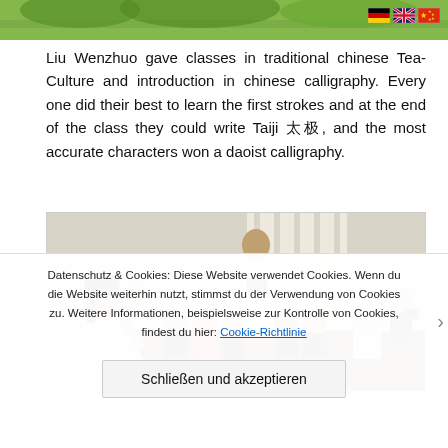[Figure (photo): Top portion of a green outdoor photo (grass/trees), partially cropped at top of page]
[Figure (photo): Three flag icons: German flag, UK flag, Chinese flag, positioned top-right]
Liu Wenzhuo gave classes in traditional chinese Tea-Culture and introduction in chinese calligraphy. Every one did their best to learn the first strokes and at the end of the class they could write Taiji 太极, and the most accurate characters won a daoist calligraphy.
[Figure (photo): Photo of a woman in light green top holding up a glass of tea, teaching a group of people seated at a table with dark red tablecloth, in a room with white curtains. A standing person with a camera is visible in the background.]
Datenschutz & Cookies: Diese Website verwendet Cookies. Wenn du die Website weiterhin nutzt, stimmst du der Verwendung von Cookies zu. Weitere Informationen, beispielsweise zur Kontrolle von Cookies, findest du hier: Cookie-Richtlinie
Schließen und akzeptieren